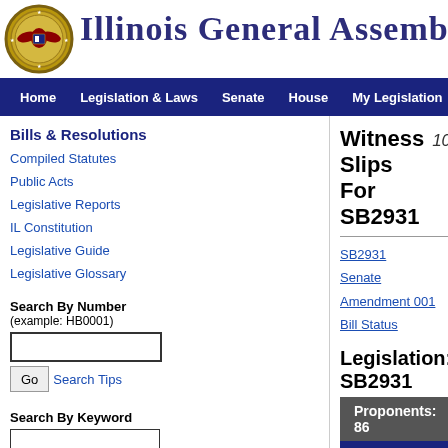[Figure (logo): Illinois state seal circular emblem, gold and blue]
Illinois General Assembly
Home | Legislation & Laws | Senate | House | My Legislation | Site Map
Bills & Resolutions
Compiled Statutes
Public Acts
Legislative Reports
IL Constitution
Legislative Guide
Legislative Glossary
Search By Number (example: HB0001)
Search By Keyword
Witness Slips For SB2931   102nd General A
SB2931
Senate Amendment 001
Bill Status
Legislation: SB2931
| Name | Firm, Busines |
| --- | --- |
| Hearing Date and Time: Criminal Law (S) 2/8/202 |  |
| David Schwartz | Self |
| Jim Kaitschuk | Illinois Sheriffs' |
| Joe McCoy | Illinois State As Counties |
| Katie Davis | Self |
| Mitchell Remmert | Illinois Municipa |
| Nicole ... | NA |